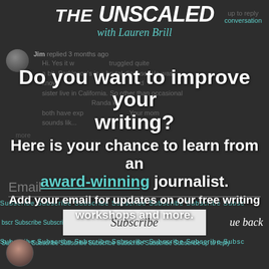[Figure (screenshot): The Unscaled with Lauren Brill podcast/newsletter header logo and tagline overlay on a dark background social media post]
Do you want to improve your writing?
Here is your chance to learn from an award-winning journalist.
Add your email for updates on our free writing workshops and more.
Email
Subscribe